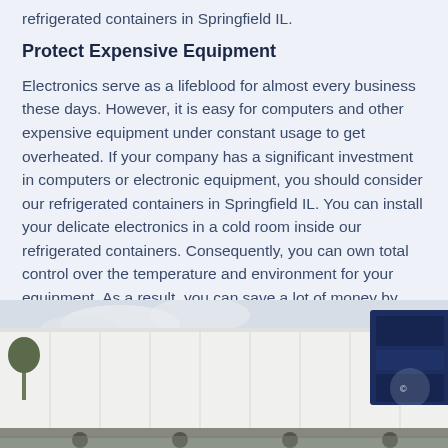refrigerated containers in Springfield IL.
Protect Expensive Equipment
Electronics serve as a lifeblood for almost every business these days. However, it is easy for computers and other expensive equipment under constant usage to get overheated. If your company has a significant investment in computers or electronic equipment, you should consider our refrigerated containers in Springfield IL. You can install your delicate electronics in a cold room inside our refrigerated containers. Consequently, you can own total control over the temperature and environment for your equipment. As a result, you can save a lot of money by extending the life of your expensive electronics.
[Figure (photo): Photograph of white refrigerated shipping containers with refrigeration units visible, parked outdoors under a partly cloudy sky.]